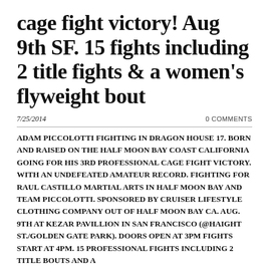cage fight victory! Aug 9th SF. 15 fights including 2 title fights & a women's flyweight bout
7/25/2014
0 COMMENTS
ADAM PICCOLOTTI FIGHTING IN DRAGON HOUSE 17. BORN AND RAISED ON THE HALF MOON BAY COAST CALIFORNIA GOING FOR HIS 3RD PROFESSIONAL CAGE FIGHT VICTORY. WITH AN UNDEFEATED AMATEUR RECORD. FIGHTING FOR RAUL CASTILLO MARTIAL ARTS IN HALF MOON BAY AND TEAM PICCOLOTTI. SPONSORED BY CRUISER LIFESTYLE CLOTHING COMPANY OUT OF HALF MOON BAY CA. AUG. 9TH AT KEZAR PAVILLION IN SAN FRANCISCO (@HAIGHT ST./GOLDEN GATE PARK). DOORS OPEN AT 3PM FIGHTS START AT 4PM. 15 PROFESSIONAL FIGHTS INCLUDING 2 TITLE BOUTS AND A